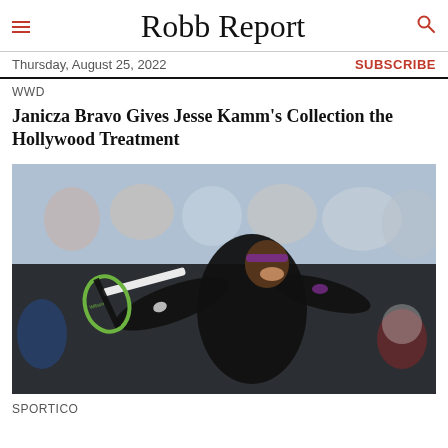Robb Report
Thursday, August 25, 2022
SUBSCRIBE
WWD
Janicza Bravo Gives Jesse Kamm's Collection the Hollywood Treatment
[Figure (photo): A tennis player in a black outfit holding a Wilson racket mid-swing, smiling, with a blurred crowd in the background.]
SPORTICO